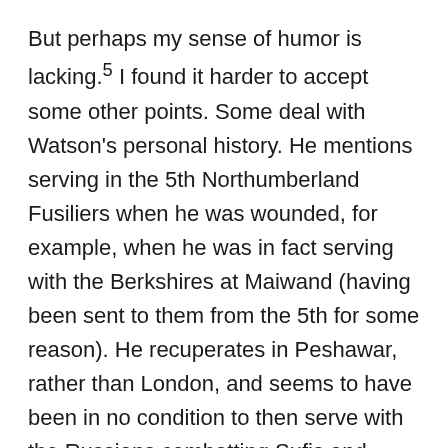But perhaps my sense of humor is lacking.5 I found it harder to accept some other points. Some deal with Watson's personal history. He mentions serving in the 5th Northumberland Fusiliers when he was wounded, for example, when he was in fact serving with the Berkshires at Maiwand (having been sent to them from the 5th for some reason). He recuperates in Peshawar, rather than London, and seems to have been in no condition to then serve with the Russians combatting Sufis and conducting medical research as he claims in this book. Nor does the time frame work (as ridiculous as it may sound to talk about Watson and time frames). He doesn't seem to have had enough time to recuperate and work again in the weeks between the time the Orontes docks (in November of 1880) and the day he meets with Stamford in the